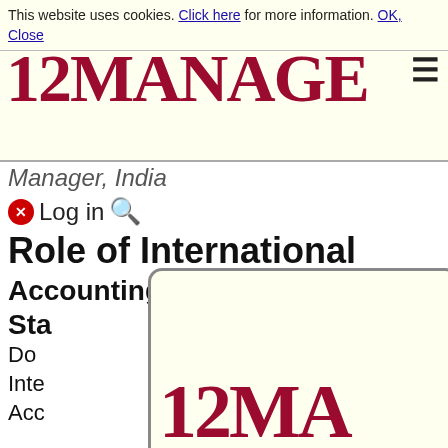This website uses cookies. Click here for more information. OK, Close
[Figure (logo): 12MANAGE logo in dark red serif font with hamburger menu icon]
Manager, India
🔴✕ Log in 🔍
Role of International
Accounting
Sta
Do
Inte
Acc
[Figure (logo): 12MANAGE logo popup overlay showing '12MA' in large dark red serif font on cream background with rounded border]